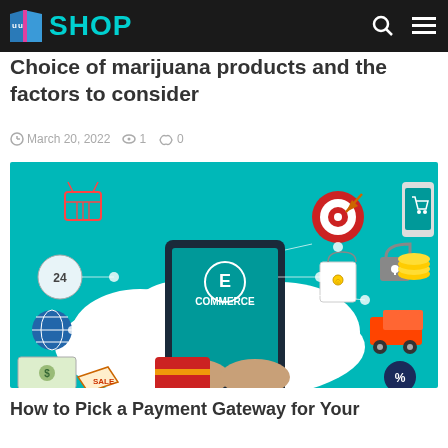SHOP
Choice of marijuana products and the factors to consider
March 20, 2022   1   0
[Figure (illustration): E-commerce infographic illustration on teal background showing a tablet device with 'E COMMERCE' text, hands holding a credit card, with icons for shopping cart, 24-hour service, globe, sale tag, target, smiley face, lock, delivery truck, phone with cart, coins, and percentage badge.]
How to Pick a Payment Gateway for Your